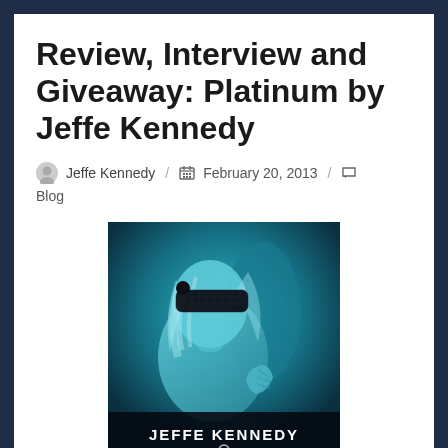Review, Interview and Giveaway: Platinum by Jeffe Kennedy
Jeffe Kennedy / February 20, 2013 / Blog
[Figure (photo): Book cover for 'Platinum' by Jeffe Kennedy. A teal/dark blue tinted photo of a woman with a black lace blindfold across her eyes, with blonde hair. A man's hand is visible on her side. The author name 'JEFFE KENNEDY' is displayed at the bottom of the cover in white text.]